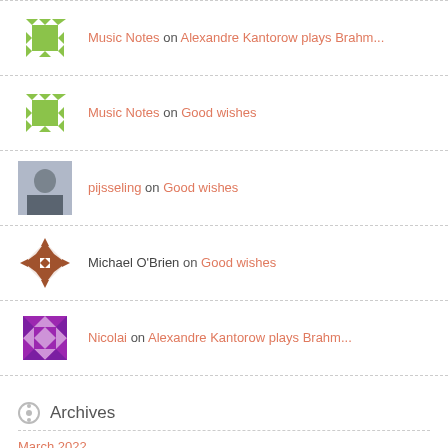Music Notes on Alexandre Kantorow plays Brahm...
Music Notes on Good wishes
pijsseling on Good wishes
Michael O'Brien on Good wishes
Nicolai on Alexandre Kantorow plays Brahm...
Archives
March 2022